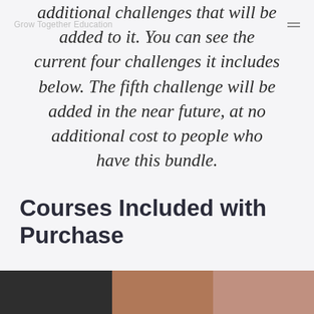Grow Together Education
additional challenges that will be added to it. You can see the current four challenges it includes below. The fifth challenge will be added in the near future, at no additional cost to people who have this bundle.
Courses Included with Purchase
[Figure (photo): Two thumbnail images at the bottom of the page, partially visible, showing people]